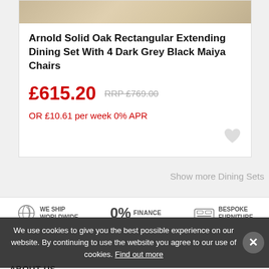[Figure (photo): Partial top view of a dining set product image showing a light-colored wood table surface]
Arnold Solid Oak Rectangular Extending Dining Set With 4 Dark Grey Black Maiya Chairs
£615.20  RRP £769.00
OR £10.61 per week 0% APR
Show more Dining Sets
WE SHIP WORLDWIDE
0% FINANCE
BESPOKE FURNITURE
We use cookies to give you the best possible experience on our website. By continuing to use the website you agree to our use of cookies. Find out more
ABOUT US